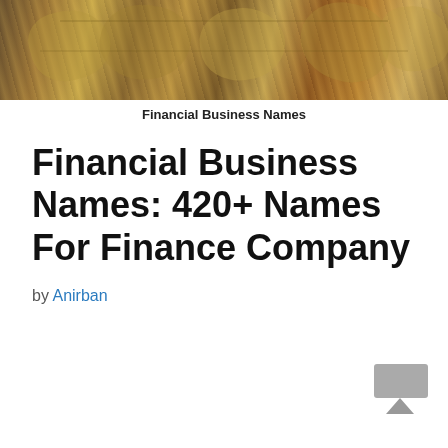[Figure (photo): Rolled up US dollar bills photographed from above, filling the header area]
Financial Business Names
Financial Business Names: 420+ Names For Finance Company
by Anirban